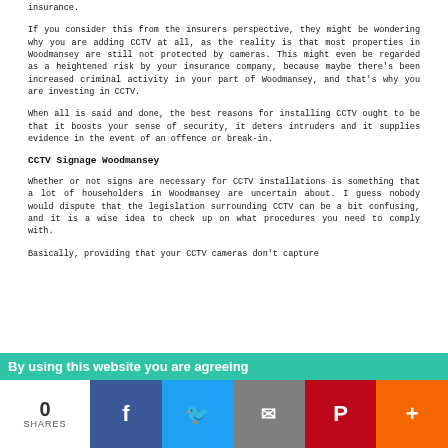insurance.
If you consider this from the insurers perspective, they might be wondering why you are adding CCTV at all, as the reality is that most properties in Woodmansey are still not protected by cameras. This might even be regarded as a heightened risk by your insurance company, because maybe there's been increased criminal activity in your part of Woodmansey, and that's why you are investing in CCTV.
When all is said and done, the best reasons for installing CCTV ought to be that it boosts your sense of security, it deters intruders and it supplies evidence in the event of an offence or break-in.
CCTV Signage Woodmansey
Whether or not signs are necessary for CCTV installations is something that a lot of householders in Woodmansey are uncertain about. I guess nobody would dispute that the legislation surrounding CCTV can be a bit confusing, and it is a wise idea to check up on what procedures you need to comply with.
Basically, providing that your CCTV cameras don't capture
By using this website you are agreeing
0 SHARES